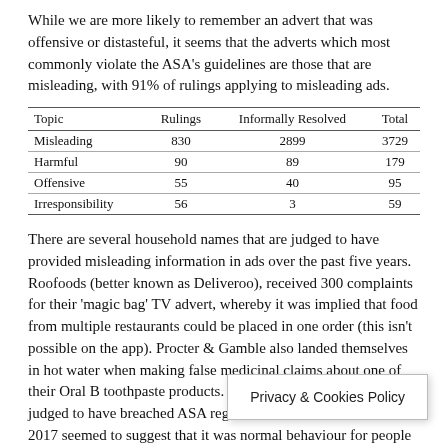While we are more likely to remember an advert that was offensive or distasteful, it seems that the adverts which most commonly violate the ASA's guidelines are those that are misleading, with 91% of rulings applying to misleading ads.
| Topic | Rulings | Informally Resolved | Total |
| --- | --- | --- | --- |
| Misleading | 830 | 2899 | 3729 |
| Harmful | 90 | 89 | 179 |
| Offensive | 55 | 40 | 95 |
| Irresponsibility | 56 | 3 | 59 |
There are several household names that are judged to have provided misleading information in ads over the past five years. Roofoods (better known as Deliveroo), received 300 complaints for their 'magic bag' TV advert, whereby it was implied that food from multiple restaurants could be placed in one order (this isn't possible on the app). Procter & Gamble also landed themselves in hot water when making false medicinal claims about one of their Oral B toothpaste products. Finally, Paddy Power were judged to have breached ASA regulations when a TV ad aired in 2017 seemed to suggest that it was normal behaviour for people to gamble in their place of work.
Glen Eckett, Head of Marketi…are so many